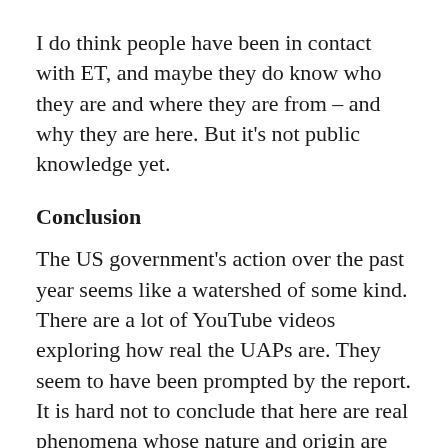I do think people have been in contact with ET, and maybe they do know who they are and where they are from – and why they are here. But it's not public knowledge yet.
Conclusion
The US government's action over the past year seems like a watershed of some kind. There are a lot of YouTube videos exploring how real the UAPs are. They seem to have been prompted by the report. It is hard not to conclude that here are real phenomena whose nature and origin are not presently knowable – and about which